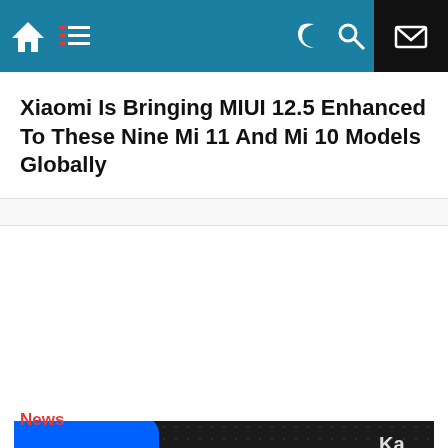Navigation bar with home, menu, moon, search, and mail icons
Xiaomi Is Bringing MIUI 12.5 Enhanced To These Nine Mi 11 And Mi 10 Models Globally
[Figure (photo): Close-up photo of a smartphone screen showing WhatsApp icon with a red notification badge showing '2', and Dropbox app visible above. WhatsApp label visible on the icon.]
News